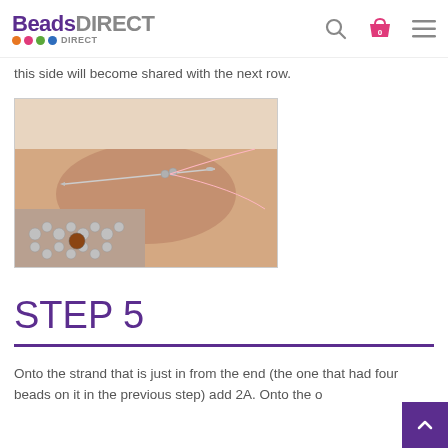Beads Direct
this side will become shared with the next row.
[Figure (photo): Close-up photo of a hand holding beadwork with a needle and thread, showing silver beads arranged in a pattern with a pink thread.]
STEP 5
Onto the strand that is just in from the end (the one that had four beads on it in the previous step) add 2A. Onto the o